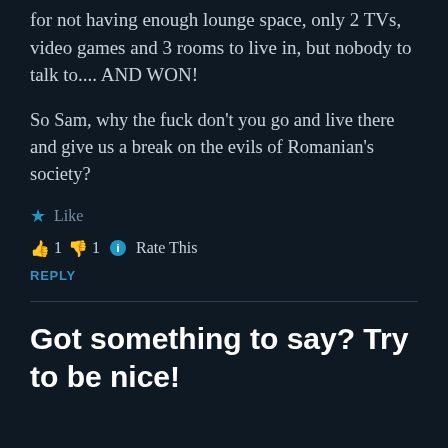for not having enough lounge space, only 2 TVs, video games and 3 rooms to live in, but nobody to talk to.... AND WON!
So Sam, why the fuck don't you go and live there and give us a break on the evils of Romanian's society?
★ Like
👍 1 👎 1 ℹ Rate This
REPLY
Got something to say? Try to be nice!